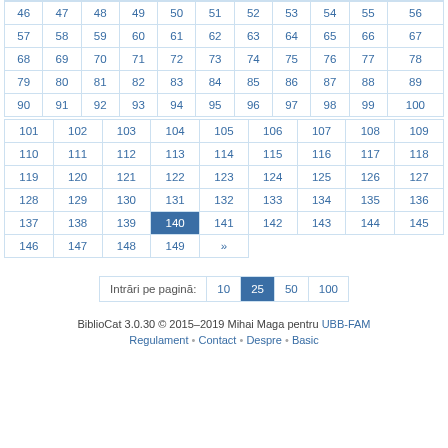| 46 | 47 | 48 | 49 | 50 | 51 | 52 | 53 | 54 | 55 | 56 |
| 57 | 58 | 59 | 60 | 61 | 62 | 63 | 64 | 65 | 66 | 67 |
| 68 | 69 | 70 | 71 | 72 | 73 | 74 | 75 | 76 | 77 | 78 |
| 79 | 80 | 81 | 82 | 83 | 84 | 85 | 86 | 87 | 88 | 89 |
| 90 | 91 | 92 | 93 | 94 | 95 | 96 | 97 | 98 | 99 | 100 |
| 101 | 102 | 103 | 104 | 105 | 106 | 107 | 108 | 109 |
| 110 | 111 | 112 | 113 | 114 | 115 | 116 | 117 | 118 |
| 119 | 120 | 121 | 122 | 123 | 124 | 125 | 126 | 127 |
| 128 | 129 | 130 | 131 | 132 | 133 | 134 | 135 | 136 |
| 137 | 138 | 139 | 140 | 141 | 142 | 143 | 144 | 145 |
| 146 | 147 | 148 | 149 | » |  |  |  |  |
Intrări pe pagină: 10  25  50  100
BiblioCat 3.0.30 © 2015–2019 Mihai Maga pentru UBB-FAM
Regulament • Contact • Despre • Basic